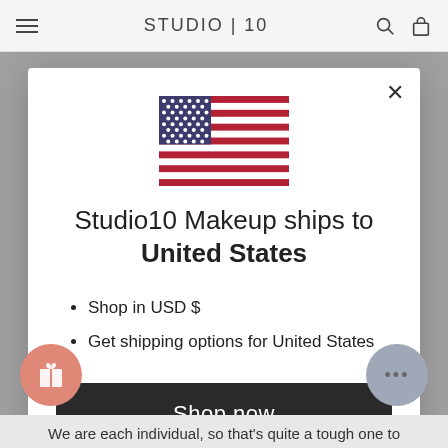STUDIO | 10
[Figure (illustration): US flag SVG illustration centered in modal]
Studio10 Makeup ships to United States
Shop in USD $
Get shipping options for United States
Shop now
Change shipping country
We are each individual, so that's quite a tough one to